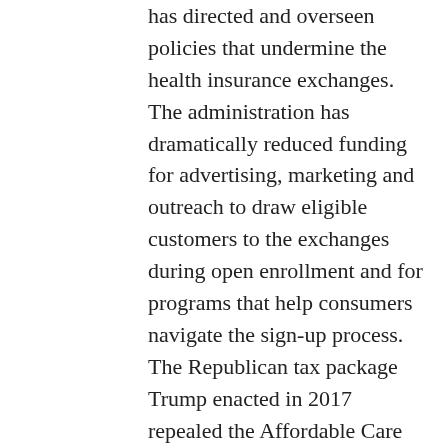has directed and overseen policies that undermine the health insurance exchanges. The administration has dramatically reduced funding for advertising, marketing and outreach to draw eligible customers to the exchanges during open enrollment and for programs that help consumers navigate the sign-up process. The Republican tax package Trump enacted in 2017 repealed the Affordable Care Act's fines on people who didn't obtain health coverage under the law's individual mandate, freeing people to go uninsured without penalty and causing insurers to increase prices on the assumption that healthier people are less likely to buy coverage in the absence of fines. Perhaps most consequentially, Trump